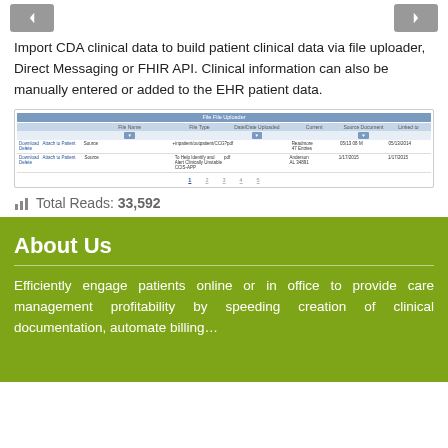[Figure (screenshot): Navigation arrows (left and right) at top of page]
Import CDA clinical data to build patient clinical data via file uploader, Direct Messaging or FHIR API. Clinical information can also be manually entered or added to the EHR patient data.
[Figure (screenshot): Screenshot of a file uploader interface showing a table with columns for document type, file name, file type, date/time, and status. Two rows of data are visible along with pagination controls.]
Total Reads: 33,592
About Us
Efficiently engage patients online or in office to provide care management profitability by speeding creation of clinical documentation, automate billing…